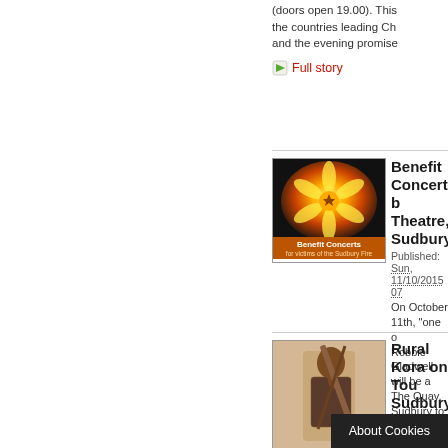(doors open 19.00). This the countries leading Ch and the evening promise
Full story
Benefit Concert b Theatre, Sudbury,
Published: Sun, 11/10/2015 07
On October 11th, "one o Robbie Gladwell will be a The Quay, Sudbury to do everything in the horrend
Full story
Rural Kora on Tou Sudbury, 11th Oct
Published: Sun, 11/10/2015 07
Afternoon concert with S musician who plays the k
Full story
Archaeological Fi Bures, 10th - 11th
Published: Sun, 11/10/2015 07
Last week's Goldingham event. ho and te
About Cookies